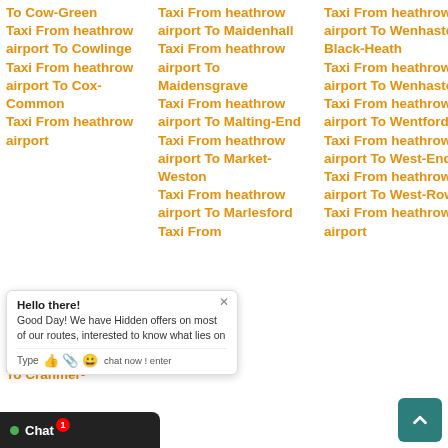To Cow-Green
Taxi From heathrow airport To Cowlinge
Taxi From heathrow airport To Cox-Common
Taxi From heathrow airport
Taxi From heathrow airport To Cranmer-
Taxi From heathrow airport To Maidenhall
Taxi From heathrow airport To Maidensgrave
Taxi From heathrow airport To Malting-End
Taxi From heathrow airport To Market-Weston
Taxi From heathrow airport To Marlesford
Taxi From
Taxi From heathrow airport To Wenhaston-Black-Heath
Taxi From heathrow airport To Wenhaston
Taxi From heathrow airport To Wentford
Taxi From heathrow airport To West-End
Taxi From heathrow airport To West-Row
Taxi From heathrow airport